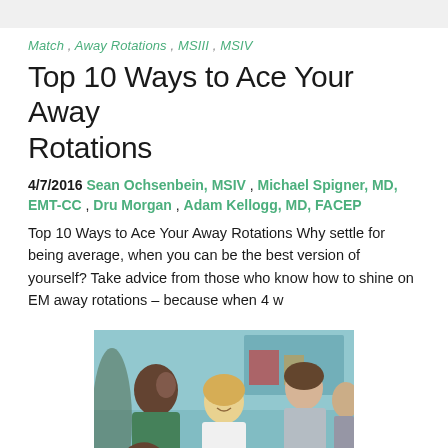Match , Away Rotations , MSIII , MSIV
Top 10 Ways to Ace Your Away Rotations
4/7/2016 Sean Ochsenbein, MSIV , Michael Spigner, MD, EMT-CC , Dru Morgan , Adam Kellogg, MD, FACEP
Top 10 Ways to Ace Your Away Rotations Why settle for being average, when you can be the best version of yourself? Take advice from those who know how to shine on EM away rotations – because when 4 w
[Figure (photo): Group of medical students or professionals in discussion, including a Black male, a blonde female smiling, and two other individuals, set in a clinical/office environment]